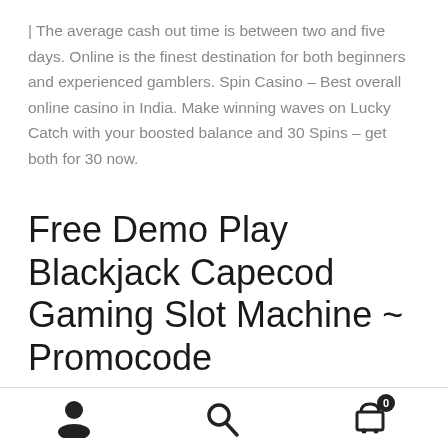| The average cash out time is between two and five days. Online is the finest destination for both beginners and experienced gamblers. Spin Casino – Best overall online casino in India. Make winning waves on Lucky Catch with your boosted balance and 30 Spins – get both for 30 now.
Free Demo Play Blackjack Capecod Gaming Slot Machine ~ Promocode
This includes using SSL Encryptions and firewalls to
user icon, search icon, cart icon with badge 0